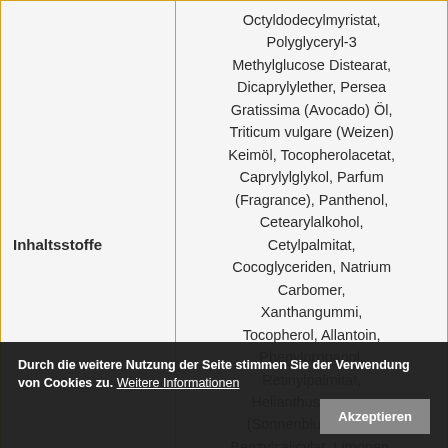| Inhaltsstoffe |  |
| --- | --- |
| Inhaltsstoffe | Octyldodecylmyristat, Polyglyceryl-3 Methylglucose Distearat, Dicaprylylether, Persea Gratissima (Avocado) Öl, Triticum vulgare (Weizen) Keimöl, Tocopherolacetat, Caprylylglykol, Parfum (Fragrance), Panthenol, Cetearylalkohol, Cetylpalmitat, Cocoglyceriden, Natrium Carbomer, Xanthangummi, Tocopherol, Allantoin, Phenylpropanol, Retinylpalmitat, Helianthus annuus (Sonnenblumen) Öl, Benzylsalicylat, Limonen, Citronellol, Hexyl |
Durch die weitere Nutzung der Seite stimmen Sie der Verwendung von Cookies zu. Weitere Informationen